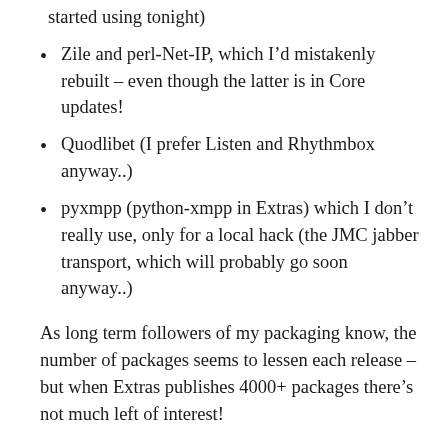started using tonight)
Zile and perl-Net-IP, which I’d mistakenly rebuilt – even though the latter is in Core updates!
Quodlibet (I prefer Listen and Rhythmbox anyway..)
pyxmpp (python-xmpp in Extras) which I don’t really use, only for a local hack (the JMC jabber transport, which will probably go soon anyway..)
As long term followers of my packaging know, the number of packages seems to lessen each release – but when Extras publishes 4000+ packages there’s not much left of interest!